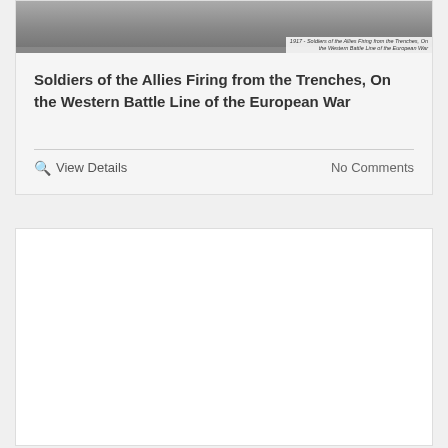[Figure (photo): Black and white photograph of soldiers firing from trenches on the Western Battle Line of the European War. A caption text overlay reads: '1917 - Soldiers of the Allies Firing from the Trenches, On the Western Battle Line of the European War']
Soldiers of the Allies Firing from the Trenches, On the Western Battle Line of the European War
View Details
No Comments
[Figure (other): Empty white card/content block below the main article card]